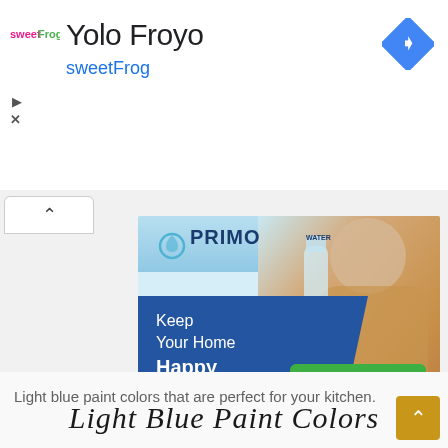[Figure (logo): sweetFrog frozen yogurt logo - pink and green text]
Yolo Froyo
sweetFrog
[Figure (other): Blue diamond navigation/directions icon with right arrow]
[Figure (other): Primo Water advertisement - woman drinking water, blue pentagon shape with text Keep Your Home Happy & Hydrated, green Get offer button]
Light blue paint colors that are perfect for your kitchen.
[Figure (other): Decorative script text reading Light Blue Paint Colors]